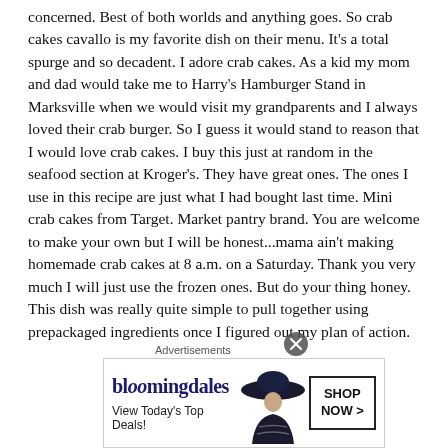concerned. Best of both worlds and anything goes. So crab cakes cavallo is my favorite dish on their menu. It's a total spurge and so decadent. I adore crab cakes. As a kid my mom and dad would take me to Harry's Hamburger Stand in Marksville when we would visit my grandparents and I always loved their crab burger. So I guess it would stand to reason that I would love crab cakes. I buy this just at random in the seafood section at Kroger's. They have great ones. The ones I use in this recipe are just what I had bought last time. Mini crab cakes from Target. Market pantry brand. You are welcome to make your own but I will be honest...mama ain't making homemade crab cakes at 8 a.m. on a Saturday. Thank you very much I will just use the frozen ones. But do your thing honey. This dish was really quite simple to pull together using prepackaged ingredients once I figured out my plan of action. Of course the experience was not the same as being at ABE...
[Figure (other): Bloomingdale's advertisement banner with logo, tagline 'View Today's Top Deals!' and a woman in a wide-brim hat, with a 'SHOP NOW >' button]